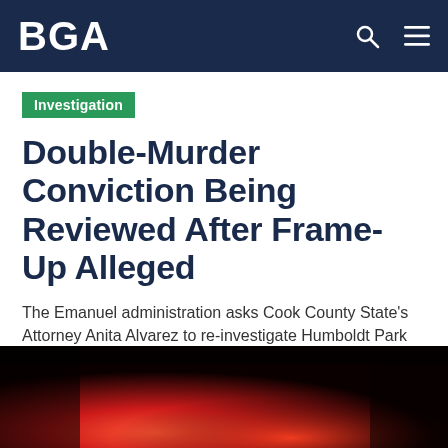BGA
Investigation
Double-Murder Conviction Being Reviewed After Frame-Up Alleged
The Emanuel administration asks Cook County State's Attorney Anita Alvarez to re-investigate Humboldt Park killings in wake of allegations that ex-Chicago detective framed suspects.
By Andrew Schroedter / Mar 29, 2015 6:00 AM
[Figure (photo): Dark photo with red lighting, nighttime crowd scene]